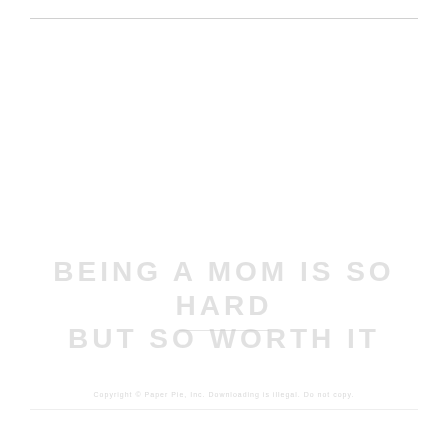BEING A MOM IS SO HARD BUT SO WORTH IT
Copyright © Paper Pie, Inc. Downloading is illegal. Do not copy.